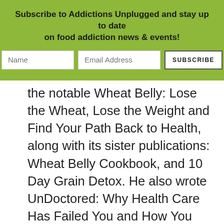Subscribe to Addictions Unplugged and stay up to date on food addiction news & events!
the notable Wheat Belly: Lose the Wheat, Lose the Weight and Find Your Path Back to Health, along with its sister publications: Wheat Belly Cookbook, and 10 Day Grain Detox. He also wrote UnDoctored: Why Health Care Has Failed You and How You Can Become Smarter than Your Doctor and his